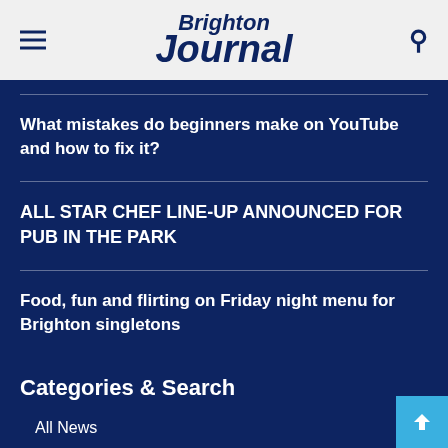Brighton Journal
What mistakes do beginners make on YouTube and how to fix it?
ALL STAR CHEF LINE-UP ANNOUNCED FOR PUB IN THE PARK
Food, fun and flirting on Friday night menu for Brighton singletons
Categories & Search
All News